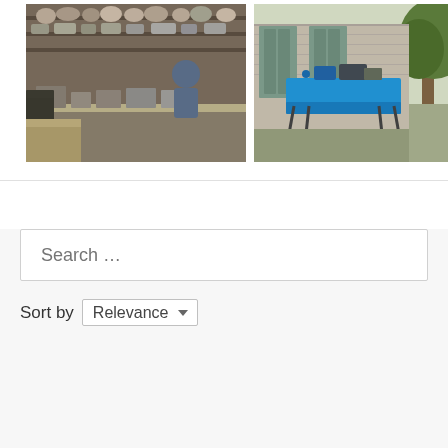[Figure (photo): Interior of a cluttered workshop or kitchen with shelves full of metal pots, pans, and equipment. A person in a blue shirt is visible working at a counter.]
[Figure (photo): Outdoor garden or courtyard scene with a blue folding table set up in front of a stone building with green shutters. A laptop and other items are on the table.]
Search ...
Sort by  Relevance